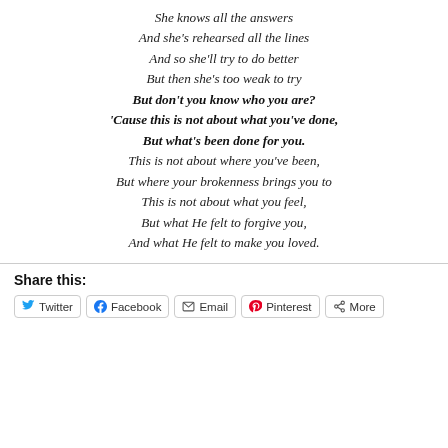She knows all the answers
And she's rehearsed all the lines
And so she'll try to do better
But then she's too weak to try
But don't you know who you are?
'Cause this is not about what you've done,
But what's been done for you.
This is not about where you've been,
But where your brokenness brings you to
This is not about what you feel,
But what He felt to forgive you,
And what He felt to make you loved.
Share this:
Twitter | Facebook | Email | Pinterest | More